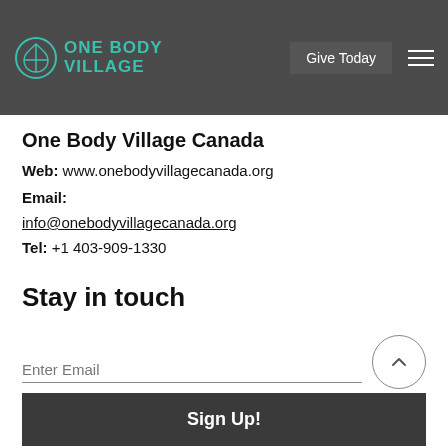ONE BODY VILLAGE | Give Today
One Body Village Canada
Web: www.onebodyvillagecanada.org
Email:
info@onebodyvillagecanada.org
Tel: +1 403-909-1330
Stay in touch
Enter Email
Sign Up!
By subscribing, you agree to receive emails